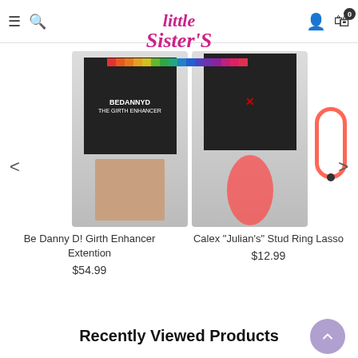Little Sister's — navigation header with hamburger, search, user, cart icons
[Figure (logo): Little Sister's store logo in pink cursive script with rainbow color bar beneath]
[Figure (photo): Product carousel showing two adult products: Be Danny D! Girth Enhancer Extention and Calex Julian's Stud Ring Lasso with navigation arrows]
Be Danny D! Girth Enhancer Extention
$54.99
Calex "Julian's" Stud Ring Lasso
$12.99
Recently Viewed Products